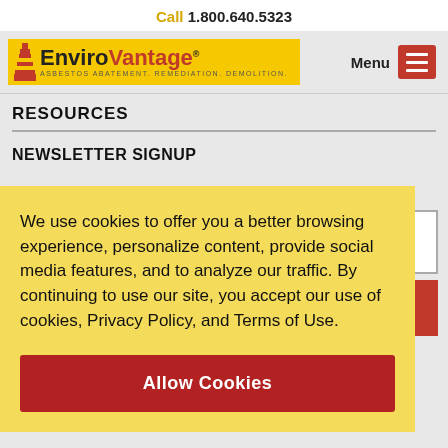Call 1.800.640.5323
[Figure (logo): EnviroVantage logo with lighthouse icon and tagline ASBESTOS ABATEMENT. REMEDIATION. DEMOLITION. on yellow background]
RESOURCES
NEWSLETTER SIGNUP
We use cookies to offer you a better browsing experience, personalize content, provide social media features, and to analyze our traffic. By continuing to use our site, you accept our use of cookies, Privacy Policy, and Terms of Use.
Allow Cookies